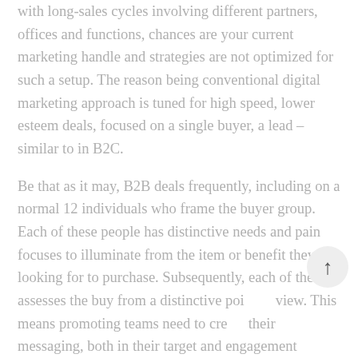with long-sales cycles involving different partners, offices and functions, chances are your current marketing handle and strategies are not optimized for such a setup. The reason being conventional digital marketing approach is tuned for high speed, lower esteem deals, focused on a single buyer, a lead – similar to in B2C.
Be that as it may, B2B deals frequently, including on a normal 12 individuals who frame the buyer group. Each of these people has distinctive needs and pain focuses to illuminate from the item or benefit they are looking for to purchase. Subsequently, each of them assesses the buy from a distinctive point of view. This means promoting teams need to create their messaging, both in their target and engagement campaigns, by keeping each of those individuals account relationships in context.